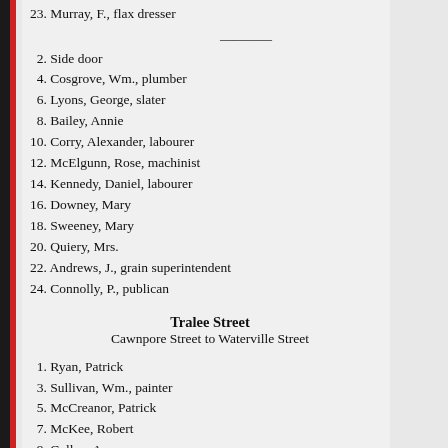23. Murray, F., flax dresser
2. Side door
4. Cosgrove, Wm., plumber
6. Lyons, George, slater
8. Bailey, Annie
10. Corry, Alexander, labourer
12. McElgunn, Rose, machinist
14. Kennedy, Daniel, labourer
16. Downey, Mary
18. Sweeney, Mary
20. Quiery, Mrs.
22. Andrews, J., grain superintendent
24. Connolly, P., publican
Tralee Street
Cawnpore Street to Waterville Street
1. Ryan, Patrick
3. Sullivan, Wm., painter
5. McCreanor, Patrick
7. McKee, Robert
9. Cullen, Anna
11. Devlin, Thos., bundler
13. Ralph, Chas., brush maker